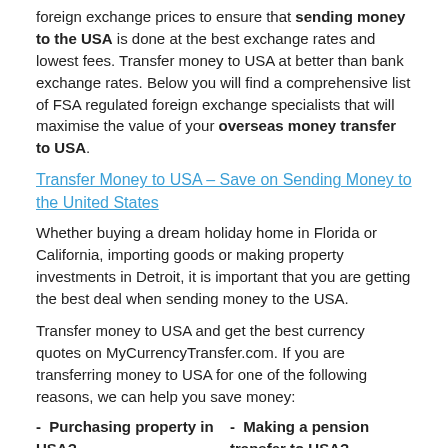foreign exchange prices to ensure that sending money to the USA is done at the best exchange rates and lowest fees. Transfer money to USA at better than bank exchange rates. Below you will find a comprehensive list of FSA regulated foreign exchange specialists that will maximise the value of your overseas money transfer to USA.
Transfer Money to USA – Save on Sending Money to the United States
Whether buying a dream holiday home in Florida or California, importing goods or making property investments in Detroit, it is important that you are getting the best deal when sending money to the USA.
Transfer money to USA and get the best currency quotes on MyCurrencyTransfer.com. If you are transferring money to USA for one of the following reasons, we can help you save money:
- Purchasing property in USA?
- Making a pension transfer to USA?
- Expatriating to USA?
- Salary payments to USA?
- Importing goods from
- Regular overseas Payments to